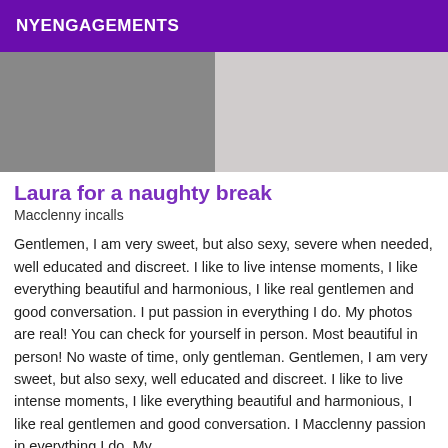NYENGAGEMENTS
[Figure (photo): A two-panel photo showing fabric/cloth textures — left panel is dark gray, right panel is light gray/white crumpled fabric.]
Laura for a naughty break
Macclenny incalls
Gentlemen, I am very sweet, but also sexy, severe when needed, well educated and discreet. I like to live intense moments, I like everything beautiful and harmonious, I like real gentlemen and good conversation. I put passion in everything I do. My photos are real! You can check for yourself in person. Most beautiful in person! No waste of time, only gentleman. Gentlemen, I am very sweet, but also sexy, well educated and discreet. I like to live intense moments, I like everything beautiful and harmonious, I like real gentlemen and good conversation. I Macclenny passion in everything I do. My